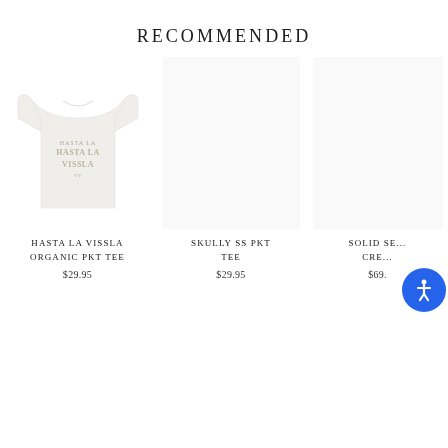RECOMMENDED
[Figure (photo): White t-shirt with 'Hasta La Vissla' text graphic on chest]
HASTA LA VISSLA ORGANIC PKT TEE
$29.95
SKULLY SS PKT TEE
$29.95
SOLID SE... CRE...
$69.